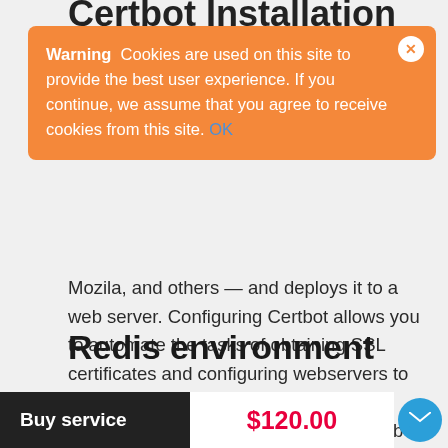Certbot Installation
[Figure (screenshot): Cookie consent banner overlay with orange background. Contains bold 'Warning' label followed by text: 'Cookies are used on this site to provide the best user experience. If you continue, we assume that you agree to receive cookies from this site.' with a blue 'OK' link and a white circular close button with an X.]
Mozila, and others — and deploys it to a web server. Configuring Certbot allows you to automate the tasks of obtaining SSL certificates and configuring webservers to use them. By enabling this option our specialists will install Certbot to your web server and configure it according to the current server environment.
Redis environment
Redis is a fast in-memory database and cache
Buy service   $120.00